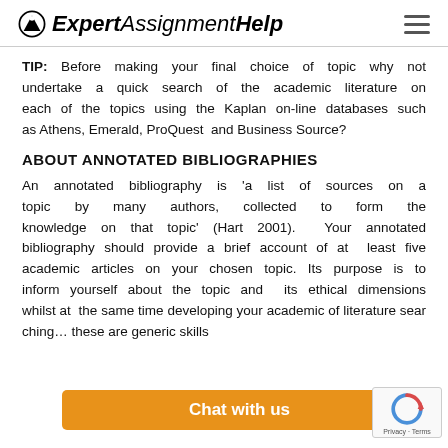ExpertAssignmentHelp
TIP: Before making your final choice of topic why not undertake a quick search of the academic literature on each of the topics using the Kaplan on-line databases such as Athens, Emerald, ProQuest and Business Source?
ABOUT ANNOTATED BIBLIOGRAPHIES
An annotated bibliography is 'a list of sources on a topic by many authors, collected to form the knowledge on that topic' (Hart 2001). Your annotated bibliography should provide a brief account of at least five academic articles on your chosen topic. Its purpose is to inform yourself about the topic and its ethical dime[nsions] whilst at the sa[me time developing your] academic [skills] of literature sear[ching… these are] generic skills